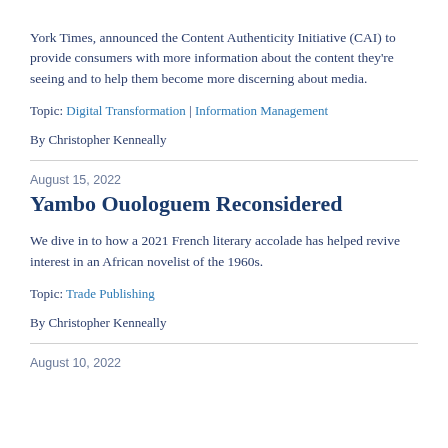York Times, announced the Content Authenticity Initiative (CAI) to provide consumers with more information about the content they're seeing and to help them become more discerning about media.
Topic: Digital Transformation | Information Management
By Christopher Kenneally
August 15, 2022
Yambo Ouologuem Reconsidered
We dive in to how a 2021 French literary accolade has helped revive interest in an African novelist of the 1960s.
Topic: Trade Publishing
By Christopher Kenneally
August 10, 2022